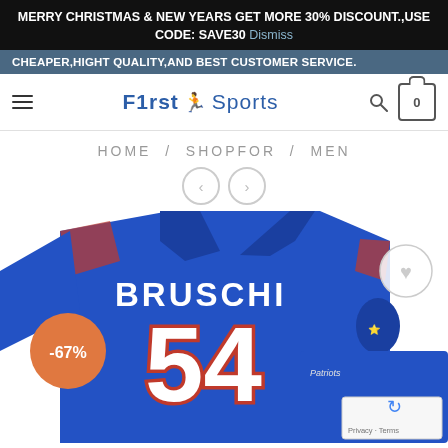MERRY CHRISTMAS & NEW YEARS GET MORE 30% DISCOUNT.,USE CODE: SAVE30 Dismiss
CHEAPER,HIGHT QUALITY,AND BEST CUSTOMER SERVICE.
F1rst Sports — HOME / SHOPFOR / MEN
HOME / SHOPFOR / MEN
[Figure (photo): Blue New England Patriots football jersey with BRUSCHI 54 on it, shown at a steep angle with a smaller jersey visible behind it. A -67% discount badge in orange is on the top left. A wishlist heart button is on the top right. A Google reCAPTCHA Privacy-Terms box is in the bottom right.]